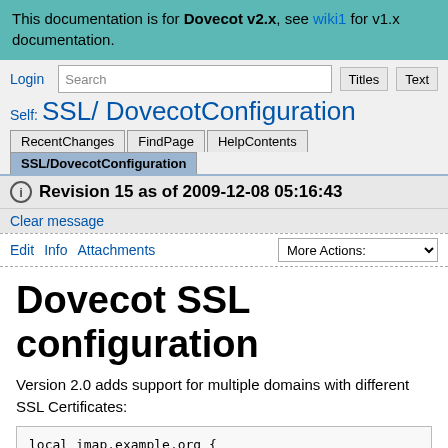This documentation is for Dovecot v2.x, see wiki1 for v1.x documentation.
Login  Search  Titles  Text
Self: SSL/ DovecotConfiguration
RecentChanges  FindPage  HelpContents  SSL/DovecotConfiguration
Revision 15 as of 2009-12-08 05:16:43
Clear message
Edit  Info  Attachments  More Actions:
Dovecot SSL configuration
Version 2.0 adds support for multiple domains with different SSL Certificates: